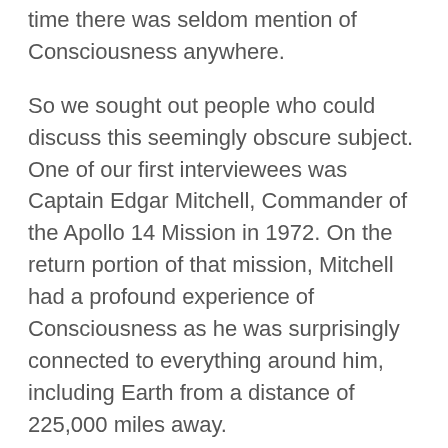time there was seldom mention of Consciousness anywhere.
So we sought out people who could discuss this seemingly obscure subject.  One of our first interviewees was Captain Edgar Mitchell, Commander of the Apollo 14 Mission in 1972.  On the return portion of that mission, Mitchell had a profound experience of Consciousness as he was surprisingly connected to everything around him, including Earth from a distance of 225,000 miles away.
This experience was so powerful that he resigned his commission in the Navy and committed his life to finding out what it was. He founded the Institute of Noetic Sciences and discovered Consciousness was a hidden secret...